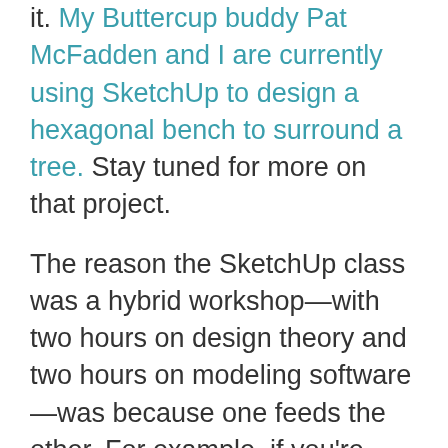it. My Buttercup buddy Pat McFadden and I are currently using SketchUp to design a hexagonal bench to surround a tree. Stay tuned for more on that project.
The reason the SketchUp class was a hybrid workshop—with two hours on design theory and two hours on modeling software—was because one feeds the other. For example, if you're designing a kitchen and you're trying to decide what size all the cabinets and drawers should be, the permutations are endless. So it helps to rely on the same tried-and-true principles that make the Parthenon look perfect.
“When in doubt, Fibonacci it out,” says Chris Barber, referring to the Italian mathematician, who figured out that the most visually pleasing forms in nature